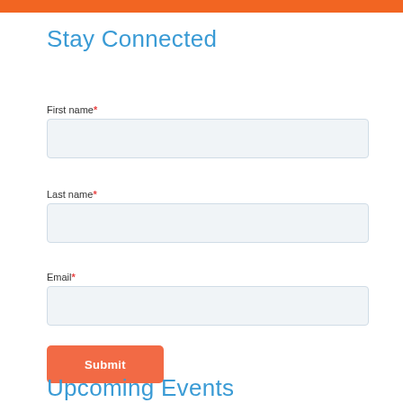Stay Connected
First name*
[Figure (other): First name text input field]
Last name*
[Figure (other): Last name text input field]
Email*
[Figure (other): Email text input field]
[Figure (other): Submit button with orange background]
Upcoming Events